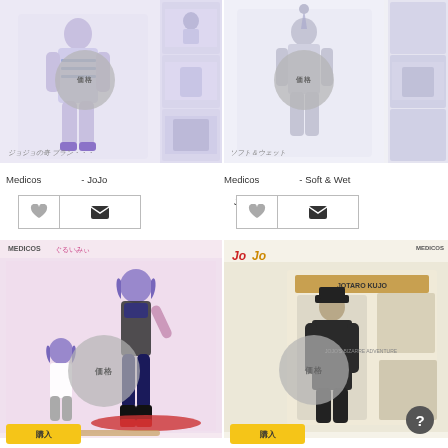[Figure (photo): JoJo figure product image top-left, white anime figure with Japanese text, multiple angle thumbnails]
[Figure (photo): JoJo figure product image top-right, grey/white anime figure, multiple angle thumbnails]
Medicos - JoJo 8 ( )
Medicos - Soft & Wet JoJo 8 ( )
[Figure (photo): JoJo anime female figure set bottom-left, purple-haired figures on red base, Medicos brand]
[Figure (photo): JoJo Jotaro Kujo figure product bottom-right, dark themed, JOTARO KUJO text on box]